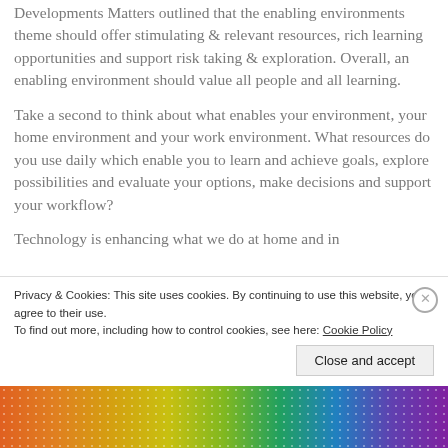Developments Matters outlined that the enabling environments theme should offer stimulating & relevant resources, rich learning opportunities and support risk taking & exploration. Overall, an enabling environment should value all people and all learning.
Take a second to think about what enables your environment, your home environment and your work environment. What resources do you use daily which enable you to learn and achieve goals, explore possibilities and evaluate your options, make decisions and support your workflow?
Technology is enhancing what we do at home and in
Privacy & Cookies: This site uses cookies. By continuing to use this website, you agree to their use. To find out more, including how to control cookies, see here: Cookie Policy
Close and accept
[Figure (illustration): Colorful decorative banner strip at the bottom of the page with gradient colors from orange to purple with floral/pattern overlay]